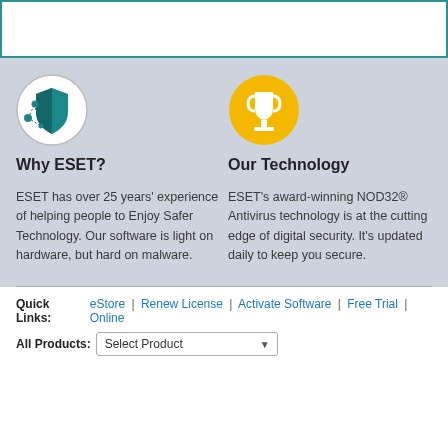[Figure (other): ESET shield/antivirus icon - teal shield with network dots]
Why ESET?
ESET has over 25 years' experience of helping people to Enjoy Safer Technology. Our software is light on hardware, but hard on malware.
[Figure (other): Gold trophy icon on yellow circle background]
Our Technology
ESET's award-winning NOD32® Antivirus technology is at the cutting edge of digital security. It's updated daily to keep you secure.
Quick Links: eStore | Renew License | Activate Software | Free Trial | Online
All Products: Select Product